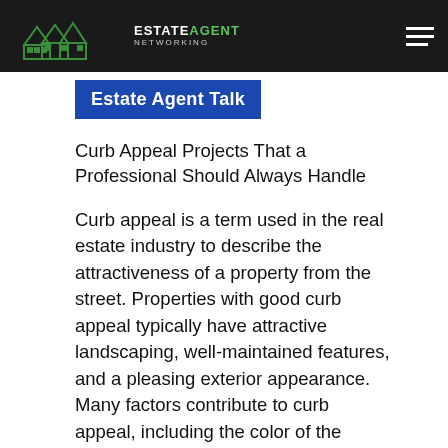Estate Agent Networking
Estate Agent Talk
Curb Appeal Projects That a Professional Should Always Handle
Curb appeal is a term used in the real estate industry to describe the attractiveness of a property from the street. Properties with good curb appeal typically have attractive landscaping, well-maintained features, and a pleasing exterior appearance. Many factors contribute to curb appeal, including the color of the house, the landscaping, the materials used for...